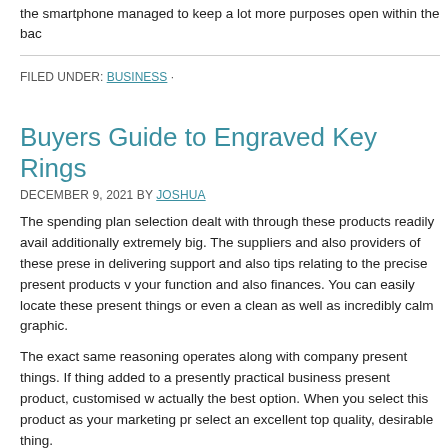the smartphone managed to keep a lot more purposes open within the bac
FILED UNDER: BUSINESS ·
Buyers Guide to Engraved Key Rings
DECEMBER 9, 2021 BY JOSHUA
The spending plan selection dealt with through these products readily avail additionally extremely big. The suppliers and also providers of these prese in delivering support and also tips relating to the precise present products v your function and also finances. You can easily locate these present things or even a clean as well as incredibly calm graphic.
The exact same reasoning operates along with company present things. If thing added to a presently practical business present product, customised w actually the best option. When you select this product as your marketing pr select an excellent top quality, desirable thing.
It is actually really effortless to locate these present products in the market. your choice coming from a big selection of these present products accessib products are actually after that packaged as well as delivered to your hand